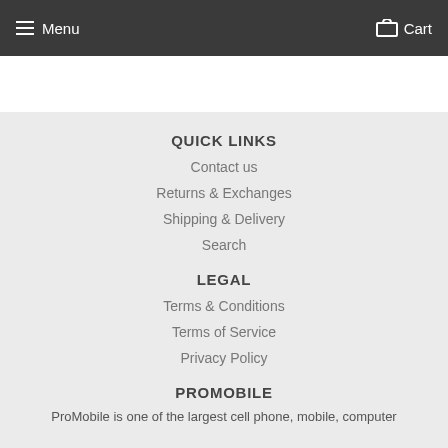Menu  Cart
QUICK LINKS
Contact us
Returns & Exchanges
Shipping & Delivery
Search
LEGAL
Terms & Conditions
Terms of Service
Privacy Policy
PROMOBILE
ProMobile is one of the largest cell phone, mobile, computer